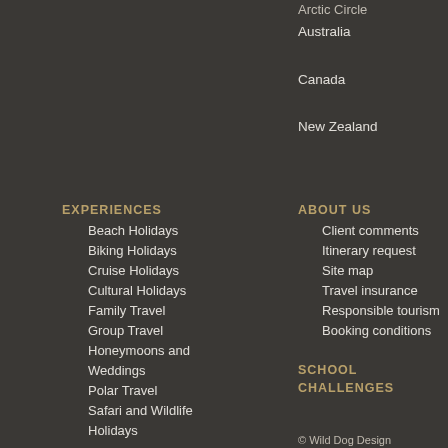Arctic Circle
Australia
Canada
New Zealand
EXPERIENCES
Beach Holidays
Biking Holidays
Cruise Holidays
Cultural Holidays
Family Travel
Group Travel
Honeymoons and Weddings
Polar Travel
Safari and Wildlife Holidays
Self-drive Holidays
Train Journeys
Walking and Climbing
ABOUT US
Client comments
Itinerary request
Site map
Travel insurance
Responsible tourism
Booking conditions
SCHOOL CHALLENGES
© Wild Dog Design